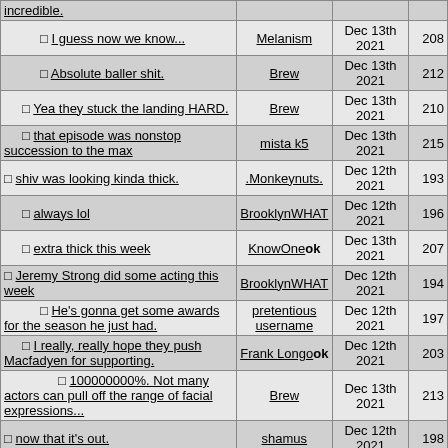| Post | User | Date | # |
| --- | --- | --- | --- |
| incredible. |  |  |  |
| I guess now we know... | Melanism | Dec 13th 2021 | 208 |
| Absolute baller shit. | Brew | Dec 13th 2021 | 212 |
| Yea they stuck the landing HARD. | Brew | Dec 13th 2021 | 210 |
| that episode was nonstop succession to the max | mista k5 | Dec 13th 2021 | 215 |
| shiv was looking kinda thick. | .Monkeynuts. | Dec 12th 2021 | 193 |
| always lol | BrooklynWHAT | Dec 12th 2021 | 196 |
| extra thick this week | KnowOne ok | Dec 13th 2021 | 207 |
| Jeremy Strong did some acting this week | BrooklynWHAT | Dec 12th 2021 | 194 |
| He's gonna get some awards for the season he just had. | pretentious username | Dec 12th 2021 | 197 |
| I really, really hope they push Macfadyen for supporting. | Frank Longo ok | Dec 12th 2021 | 203 |
| 100000000%. Not many actors can pull off the range of facial expressions... | Brew | Dec 13th 2021 | 213 |
| now that it's out. | shamus | Dec 12th 2021 | 198 |
| I wouldn't be surprised... | Frank Longo ok | Dec 12th 2021 | 202 |
| Brilliantly acted, but I think I'm done | mrhood75 ok | Dec 12th 2021 | 204 |
| yeah im prolly out after this | Reeq | Dec 13th 2021 | 209 |